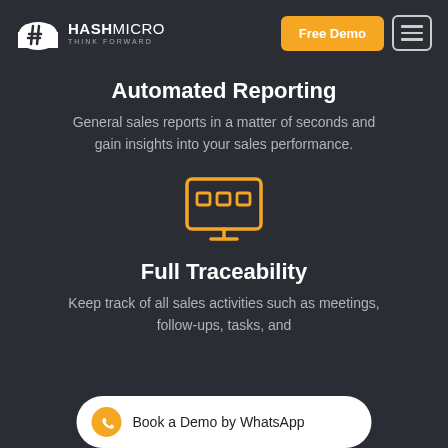HASHMICRO THINK FORWARD | Free Demo | Menu
Automated Reporting
General sales reports in a matter of seconds and gain insights into your sales performance.
[Figure (illustration): Orange outline icon of a computer monitor with three small rectangles (representing data/dashboard) on the screen, and a monitor stand below.]
Full Traceability
Keep track of all sales activities such as meetings, follow-ups, tasks, and
Book a Demo by WhatsApp